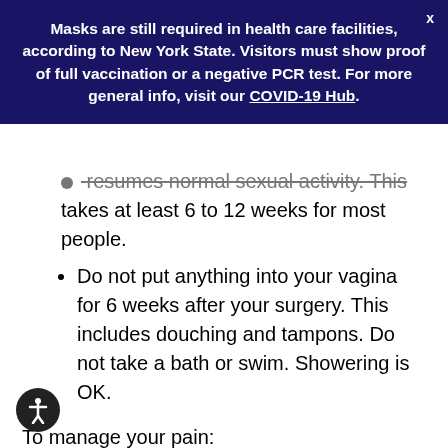Masks are still required in health care facilities, according to New York State. Visitors must show proof of full vaccination or a negative PCR test. For more general info, visit our COVID-19 Hub.
resumes normal sexual activity. This takes at least 6 to 12 weeks for most people.
Do not put anything into your vagina for 6 weeks after your surgery. This includes douching and tampons. Do not take a bath or swim. Showering is OK.
To manage your pain:
You will get a prescription for pain medicines to use at home.
If you are taking pain pills 3 or 4 times a day, try taking them at the same times each day for 3 to 4 days. They may work better this...